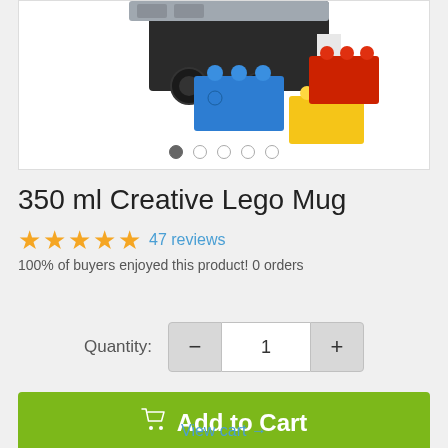[Figure (photo): Product image of 350 ml Creative Lego Mug showing LEGO bricks in blue, red, and yellow colors on a white background with image carousel dots below]
350 ml Creative Lego Mug
47 reviews
100% of buyers enjoyed this product! 0 orders
Quantity: 1
Add to Cart
View cart →